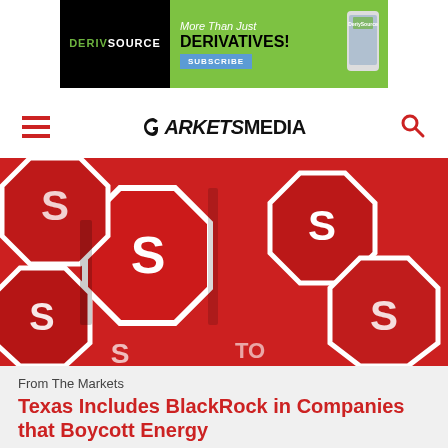[Figure (illustration): DeriySource advertisement banner: 'More Than Just DERIVATIVES! SUBSCRIBE' with green background and phone image on black background]
MARKETS MEDIA
[Figure (photo): Pile of red octagonal stop signs with white letter S visible, close-up photography]
From The Markets
Texas Includes BlackRock in Companies that Boycott Energy
State retirement systems will be subject to investment prohibitions and